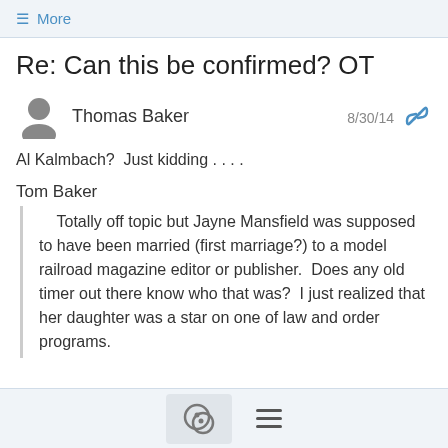≡ More
Re: Can this be confirmed? OT
Thomas Baker — 8/30/14
Al Kalmbach?  Just kidding . . . .
Tom Baker
Totally off topic but Jayne Mansfield was supposed to have been married (first marriage?) to a model railroad magazine editor or publisher.  Does any old timer out there know who that was?  I just realized that her daughter was a star on one of law and order programs.